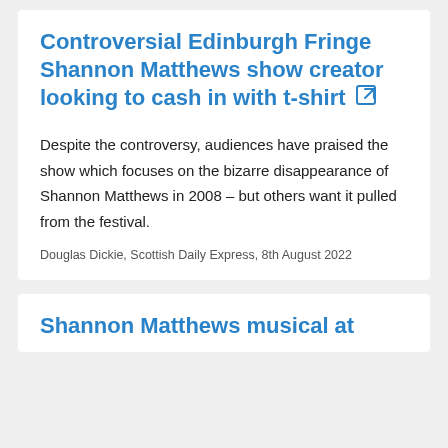Controversial Edinburgh Fringe Shannon Matthews show creator looking to cash in with t-shirt
Despite the controversy, audiences have praised the show which focuses on the bizarre disappearance of Shannon Matthews in 2008 – but others want it pulled from the festival.
Douglas Dickie, Scottish Daily Express, 8th August 2022
Shannon Matthews musical at